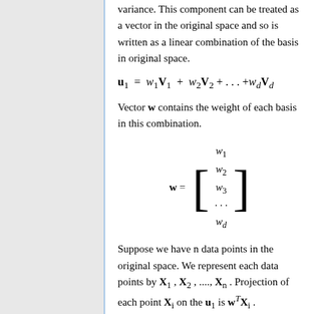variance. This component can be treated as a vector in the original space and so is written as a linear combination of the basis in original space.
Vector w contains the weight of each basis in this combination.
Suppose we have n data points in the original space. We represent each data points by X₁, X₂, ..., Xₙ. Projection of each point Xᵢ on the u₁ is wᵀXᵢ.